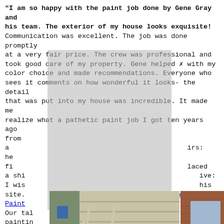"I am so happy with the paint job done by Gene Gray and his team. The exterior of my house looks exquisite! Communication was excellent. The job was done promptly at a very fair price. The crew was professional and took good care of my property. Gene helped ✗ with my color choice and made recommendations. Everyone who sees it comments on how wonderful it looks- the detail that was put into my house was incredible. It made me realize what a pathetic paint job I got ten years ago from a [...]irs: he fi[...] placed a shi[...] ive: I wis[...] his site. [...] House Painti[ng...] Our tal[...] or painting[...] ing building[...] ing, custo[m...] e only the hi[gh...] st of time. Our exterior carpentry services are designed to withstand the challenges of harsh weather conditions, sunlight and pests. Both our interior and exterior carpentry services are catered to your individual property's aesthetic and needs. Our goal is to deliver a customized service that adds a new dimension to your space. Regardless of the
[Figure (photo): Three photos showing house painting scenes: left photo shows a person falling off a ladder near a house with vinyl siding; center photo shows a person hanging from a window on a brick house with a ladder; right photo shows a person doing a parkour move near a ladder indoors.]